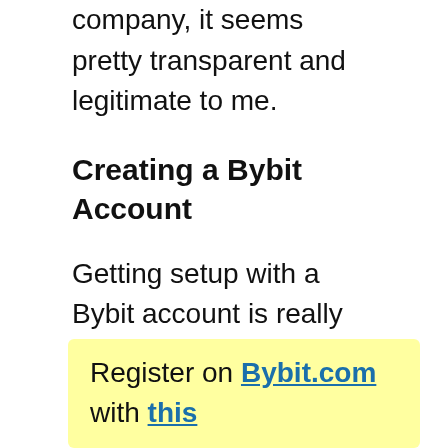company, it seems pretty transparent and legitimate to me.
Creating a Bybit Account
Getting setup with a Bybit account is really easy and takes less than 5 minutes in my experience.
This is largely due to the fact that Bybit doesn’t require KYC (Identity Verification) whatsoever.
Register on Bybit.com with this